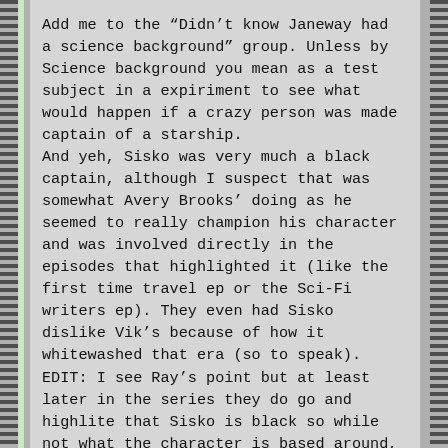Add me to the “Didn’t know Janeway had a science background” group. Unless by Science background you mean as a test subject in a expiriment to see what would happen if a crazy person was made captain of a starship.
And yeh, Sisko was very much a black captain, although I suspect that was somewhat Avery Brooks’ doing as he seemed to really champion his character and was involved directly in the episodes that highlighted it (like the first time travel ep or the Sci-Fi writers ep). They even had Sisko dislike Vik’s because of how it whitewashed that era (so to speak).
EDIT: I see Ray’s point but at least later in the series they do go and highlite that Sisko is black so while not what the character is based around, they do address it from tiem to time.